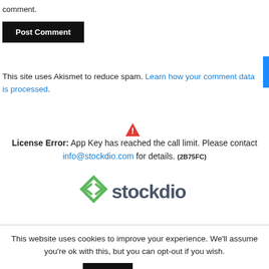comment.
Post Comment
This site uses Akismet to reduce spam. Learn how your comment data is processed.
⚠ License Error: App Key has reached the call limit. Please contact info@stockdio.com for details. (2B75FC)
[Figure (logo): Stockdio logo with green diamond shape and grey text]
This website uses cookies to improve your experience. We'll assume you're ok with this, but you can opt-out if you wish.
Accept   Read More